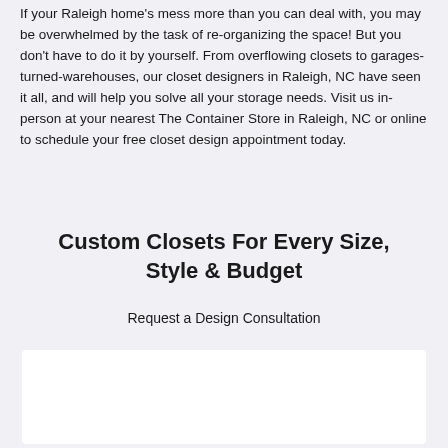If your Raleigh home's mess more than you can deal with, you may be overwhelmed by the task of re-organizing the space! But you don't have to do it by yourself. From overflowing closets to garages-turned-warehouses, our closet designers in Raleigh, NC have seen it all, and will help you solve all your storage needs. Visit us in-person at your nearest The Container Store in Raleigh, NC or online to schedule your free closet design appointment today.
Custom Closets For Every Size, Style & Budget
Request a Design Consultation
[Figure (other): White rectangular content box, likely an embedded map or image widget]